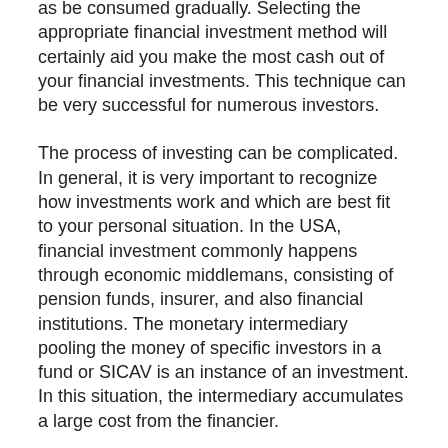as be consumed gradually. Selecting the appropriate financial investment method will certainly aid you make the most cash out of your financial investments. This technique can be very successful for numerous investors.
The process of investing can be complicated. In general, it is very important to recognize how investments work and which are best fit to your personal situation. In the USA, financial investment commonly happens through economic middlemans, consisting of pension funds, insurer, and also financial institutions. The monetary intermediary pooling the money of specific investors in a fund or SICAV is an instance of an investment. In this situation, the intermediary accumulates a large cost from the financier.
As stated earlier, investing is a process of buying possessions that will certainly raise in value